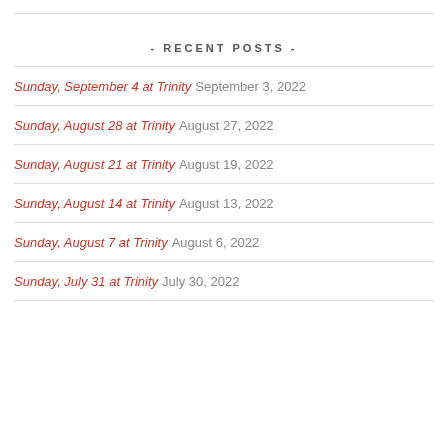- RECENT POSTS -
Sunday, September 4 at Trinity September 3, 2022
Sunday, August 28 at Trinity August 27, 2022
Sunday, August 21 at Trinity August 19, 2022
Sunday, August 14 at Trinity August 13, 2022
Sunday, August 7 at Trinity August 6, 2022
Sunday, July 31 at Trinity July 30, 2022